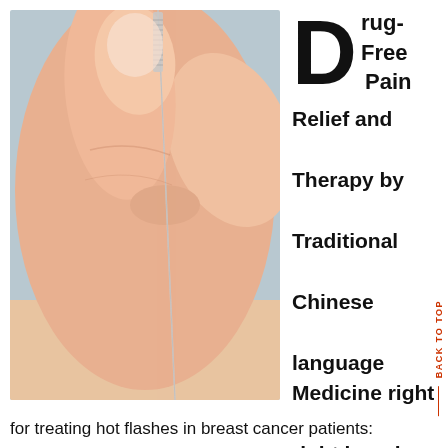[Figure (photo): Close-up photograph of hands inserting an acupuncture needle into skin]
Drug-Free Pain Relief and Therapy by Traditional Chinese language Medicine right right here in Victoria BC. Salehi A, Marzban M, Zadeh AR. Acupuncture
for treating hot flashes in breast cancer patients: